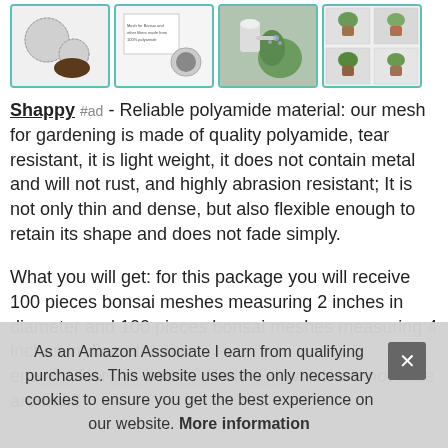[Figure (photo): Row of four product thumbnail images showing bonsai mesh products, soil, plant watering, and potted plants with teal/green borders]
Shappy #ad - Reliable polyamide material: our mesh for gardening is made of quality polyamide, tear resistant, it is light weight, it does not contain metal and will not rust, and highly abrasion resistant; It is not only thin and dense, but also flexible enough to retain its shape and does not fade simply.
What you will get: for this package you will receive 100 pieces bonsai meshes measuring 2 inches in diameter and 100 pieces bonsai meshes measuring 4 inches in diameter. the eno... Nor... bott... hole... which will not slide around.2
As an Amazon Associate I earn from qualifying purchases. This website uses the only necessary cookies to ensure you get the best experience on our website. More information